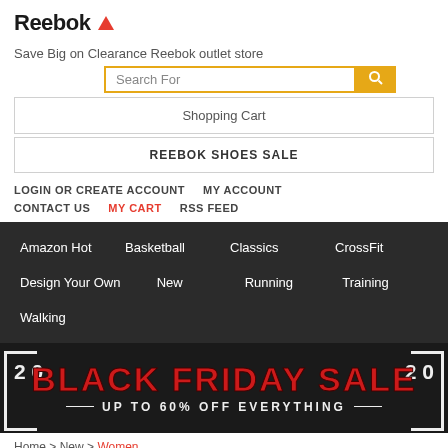[Figure (logo): Reebok logo with text 'Reebok' and red triangle symbol]
Save Big on Clearance Reebok outlet store
[Figure (screenshot): Search bar with 'Search For' placeholder and yellow search button]
Shopping Cart
REEBOK SHOES SALE
LOGIN OR CREATE ACCOUNT   MY ACCOUNT
CONTACT US   MY CART   RSS FEED
Amazon Hot   Basketball   Classics   CrossFit   Design Your Own   New   Running   Training   Walking
[Figure (infographic): Black Friday Sale 2020 banner: 'BLACK FRIDAY SALE' in large red text, '2020' on sides, 'UP TO 60% OFF EVERYTHING' below]
Home > New > Women